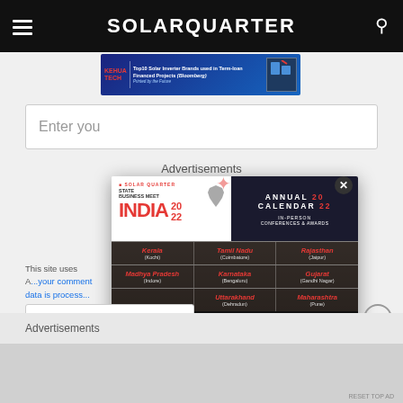SOLARQUARTER
[Figure (screenshot): Advertisement banner for KEHUA TECH - Top10 Solar Inverter Brands used in Term-loan Financed Projects]
Enter you
Advertisements
[Figure (infographic): Solar Quarter State Business Meet INDIA 2022 popup advertisement showing Annual Calendar 2022 In-Person Conferences & Awards. Grid of Indian states: Kerala (Kochi), Tamil Nadu (Coimbatore), Rajasthan (Jaipur), Madhya Pradesh (Indore), Karnataka (Bengaluru), Gujarat (Gandhi Nagar), Uttarakhand (Dehradun), Maharashtra (Pune). Sponsor & Exhibit With Us: sponsor@firstviewgroup.com 9372788472/7718877514. Solar Quarter South Asia.]
This site uses A... your comment data is process...
English
Advertisements
RESET TOP AD